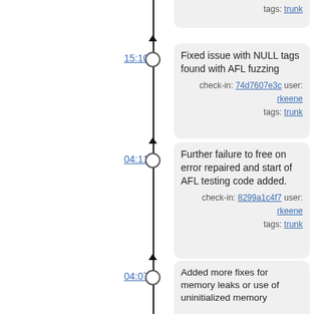tags: trunk
15:10
Fixed issue with NULL tags found with AFL fuzzing
check-in: 74d7607e3c user: rkeene
tags: trunk
04:11
Further failure to free on error repaired and start of AFL testing code added.
check-in: 8299a1c4f7 user: rkeene
tags: trunk
04:07
Added more fixes for memory leaks or use of uninitialized memory
check-in: 846e77f0f5 user: rkeene
tags: trunk
2015-07-23
20:45
Fixed a couple of issues found setting up test cases for the AFL fuzzer
check-in: 633a24960e user: rkeene